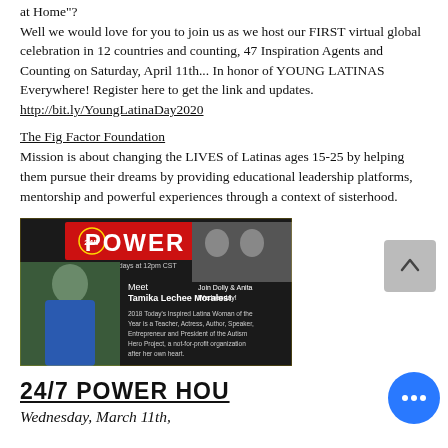at Home"?
Well we would love for you to join us as we host our FIRST virtual global celebration in 12 countries and counting, 47 Inspiration Agents and Counting on Saturday, April 11th... In honor of YOUNG LATINAS Everywhere! Register here to get the link and updates.
http://bit.ly/YoungLatinaDay2020
The Fig Factor Foundation
Mission is about changing the LIVES of Latinas ages 15-25 by helping them pursue their dreams by providing educational leadership platforms, mentorship and powerful experiences through a context of sisterhood.
[Figure (photo): Promotional image for 24/7 POWER show featuring Tamika Lechee Morales, a woman in blue standing on the left, with text about her being 2018 Today's Inspired Latina Woman of the Year, Teacher, Actress, Author, Speaker, Entrepreneur and President of the Autism Hero Project. Right side shows two women (Dolly & Anita) and text 'Join Dolly & Anita Wednesday!' and 'Wednesdays at 12pm CST'.]
24/7 POWER HOU
Wednesday, March 11th,